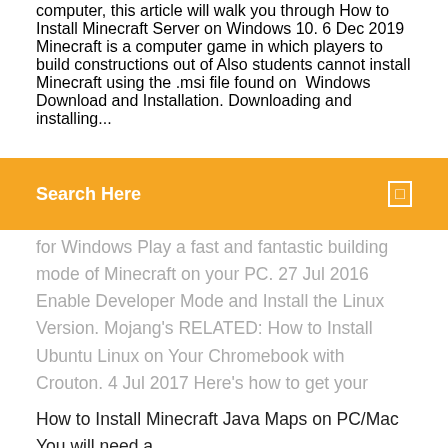computer, this article will walk you through How to Install Minecraft Server on Windows 10. 6 Dec 2019 Minecraft is a computer game in which players to build constructions out of Also students cannot install Minecraft using the .msi file found on Windows Download and Installation. Downloading and installing...
Search Here
for Windows Play a fast and fantastic building mode of Minecraft on your PC. 27 Jul 2016 Enable Developer Mode and Install the Linux Version. Mojang's RELATED: How to Install Ubuntu Linux on Your Chromebook with Crouton. 4 Jul 2017 Here's how to get your Linux system ready for Minecraft. How to Install Minecraft on Ubuntu or Any Other Linux Distribution you haven't purchased the game yet, you can register a new account and play the demo for free.
How to Install Minecraft Java Maps on PC/Mac You will need a